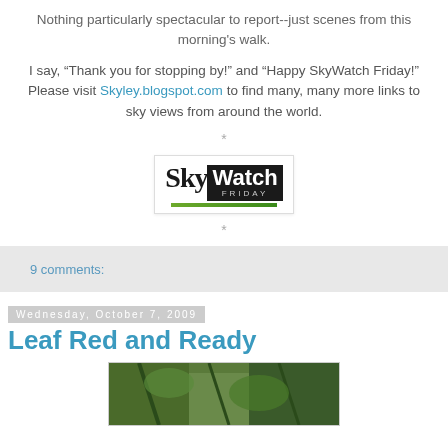Nothing particularly spectacular to report--just scenes from this morning's walk.
I say, “Thank you for stopping by!” and “Happy SkyWatch Friday!” Please visit Skyley.blogspot.com to find many, many more links to sky views from around the world.
*
[Figure (logo): SkyWatch Friday logo - black and white text logo with green underline]
*
9 comments:
Wednesday, October 7, 2009
Leaf Red and Ready
[Figure (photo): Partial photo of green leaves and branches]